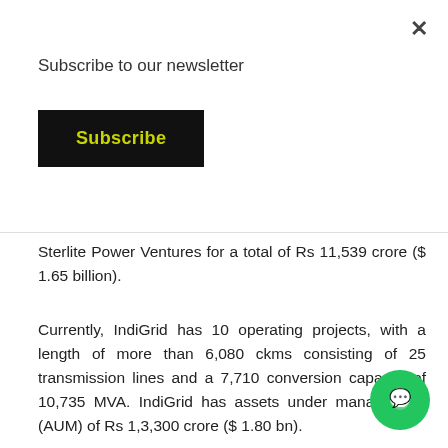×
Subscribe to our newsletter
Subscribe
Sterlite Power Ventures for a total of Rs 11,539 crore ($ 1.65 billion).
Currently, IndiGrid has 10 operating projects, with a length of more than 6,080 ckms consisting of 25 transmission lines and a 7,710 conversion capacity of 10,735 MVA. IndiGrid has assets under management (AUM) of Rs 1,3,300 crore ($ 1.80 bn).
[Figure (illustration): Green circular chat/messenger button icon in bottom right corner]